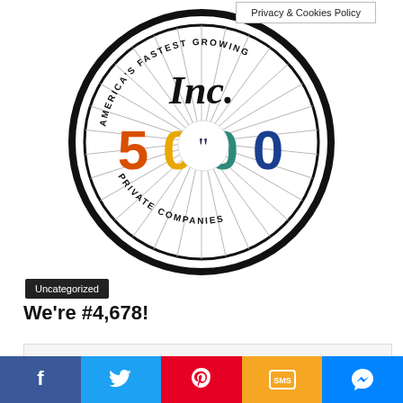Privacy & Cookies Policy
[Figure (logo): Inc. 5000 America's Fastest Growing Private Companies circular badge/seal logo. Black circular border with radiating lines. 'Inc.' text at top in black serif font. '5000' in large colorful numbers: 5 in red/orange, 0 in yellow/gold, 0 in teal/green, 0 in blue. Text around bottom: 'PRIVATE COMPANIES'. Text around top: 'AM... NG' (America's Fastest Growing). A quote/speech bubble icon overlaid in center.]
Uncategorized
We're #4,678!